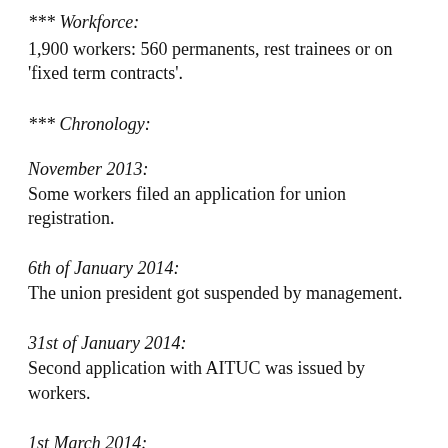*** Workforce:
1,900 workers: 560 permanents, rest trainees or on 'fixed term contracts'.
*** Chronology:
November 2013:
Some workers filed an application for union registration.
6th of January 2014:
The union president got suspended by management.
31st of January 2014:
Second application with AITUC was issued by workers.
1st March 2014:
Management puts a legal halt on the application process.